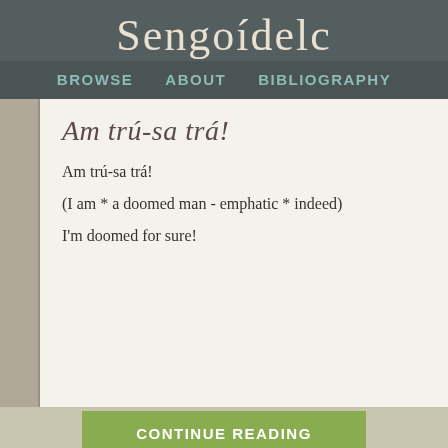Sengoídelc
BROWSE   ABOUT   BIBLIOGRAPHY
Am trú-sa trá!
Am trú-sa trá!
(I am * a doomed man - emphatic * indeed)
I'm doomed for sure!
CONTINUE READING